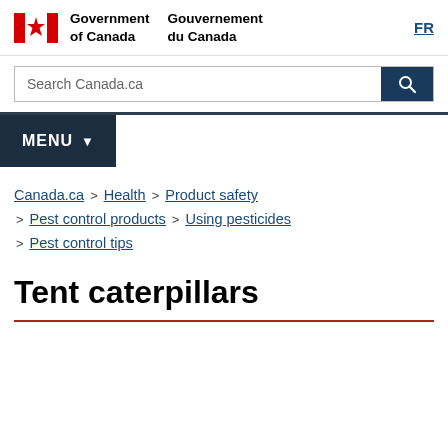[Figure (logo): Government of Canada / Gouvernement du Canada bilingual logo with Canadian flag icon]
Search Canada.ca
MENU
Canada.ca > Health > Product safety > Pest control products > Using pesticides > Pest control tips
Tent caterpillars